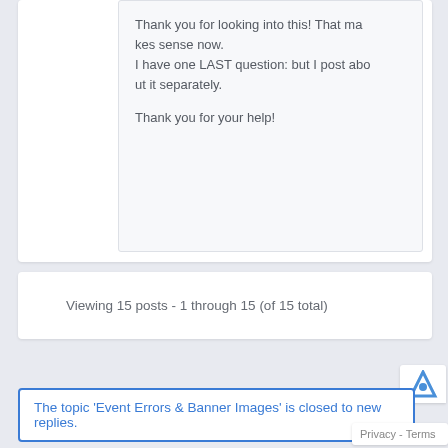Thank you for looking into this! That makes sense now.
I have one LAST question: but I post about it separately.

Thank you for your help!
Viewing 15 posts - 1 through 15 (of 15 total)
The topic 'Event Errors & Banner Images' is closed to new replies.
Privacy - Terms